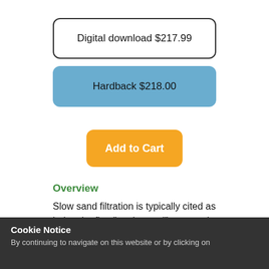Digital download $217.99
Hardback $218.00
Add to Cart
Overview
Slow sand filtration is typically cited as being the first "engineered" process in ing-water treatment. Proven
Cookie Notice
By continuing to navigate on this website or by clicking on